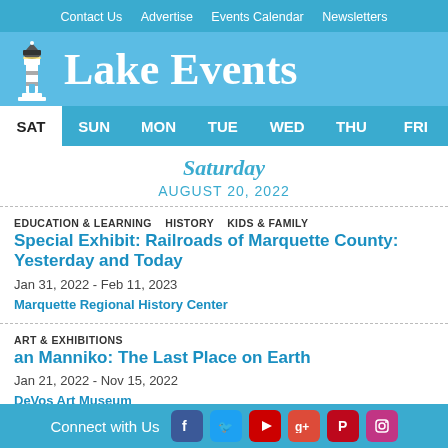Contact Us   Advertise   Events Calendar   Newsletters
Lake Events
SAT  SUN  MON  TUE  WED  THU  FRI
Saturday
AUGUST 20, 2022
EDUCATION & LEARNING   HISTORY   KIDS & FAMILY
Special Exhibit: Railroads of Marquette County: Yesterday and Today
Jan 31, 2022 - Feb 11, 2023
Marquette Regional History Center
ART & EXHIBITIONS
an Manniko: The Last Place on Earth
Jan 21, 2022 - Nov 15, 2022
DeVos Art Museum
Search Events
Submit Yours
Connect with Us